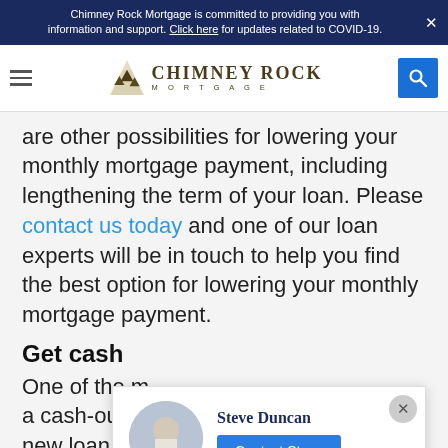Chimney Rock Mortgage is committed to providing you with information and support. Click here for updates related to COVID-19.
[Figure (logo): Chimney Rock Mortgage logo with mountain/tree illustration and stylized text]
are other possibilities for lowering your monthly mortgage payment, including lengthening the term of your loan. Please contact us today and one of our loan experts will be in touch to help you find the best option for lowering your monthly mortgage payment.
Get cash
One of the m... a cash-out r... new loan for more than your current mortgage
[Figure (photo): Chat popup showing Steve Duncan advisor photo with Contact Steve button]